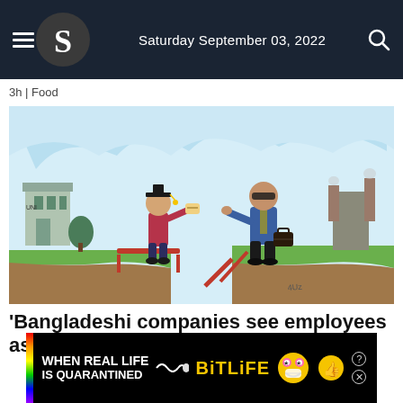Saturday September 03, 2022
3h | Food
[Figure (illustration): Cartoon illustration showing a graduating student with diploma and graduation cap on one side of a gap/cliff, and a suited businessman holding a briefcase on the other side. A broken bridge connects them. University buildings are on the left, industrial smokestacks on the right. Sky is light blue with cloud shapes.]
‘Bangladeshi companies see employees as
[Figure (other): Advertisement banner for BitLife mobile game. Rainbow stripe on left, 'WHEN REAL LIFE IS QUARANTINED' text, BitLife logo in yellow, cartoon emoji characters on right. Question mark and X close buttons in top right.]